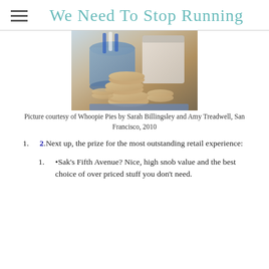We Need To Stop Running
[Figure (photo): Photo of stacked whoopie pies sandwich cookies with cream filling, with a blue pitcher and white mug in the background]
Picture courtesy of Whoopie Pies by Sarah Billingsley and Amy Treadwell, San Francisco, 2010
2.Next up, the prize for the most outstanding retail experience:
•Sak's Fifth Avenue? Nice, high snob value and the best choice of over priced stuff you don't need.